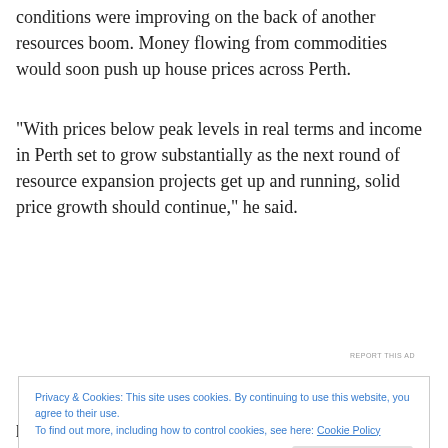conditions were improving on the back of another resources boom. Money flowing from commodities would soon push up house prices across Perth.
“With prices below peak levels in real terms and income in Perth set to grow substantially as the next round of resource expansion projects get up and running, solid price growth should continue,” he said.
[Figure (other): Advertisement banner showing WordPress course text on dark background with teal/green text and a circular logo element.]
REPORT THIS AD
Privacy & Cookies: This site uses cookies. By continuing to use this website, you agree to their use.
To find out more, including how to control cookies, see here: Cookie Policy
per cent by the middle of 2013. This growth would be